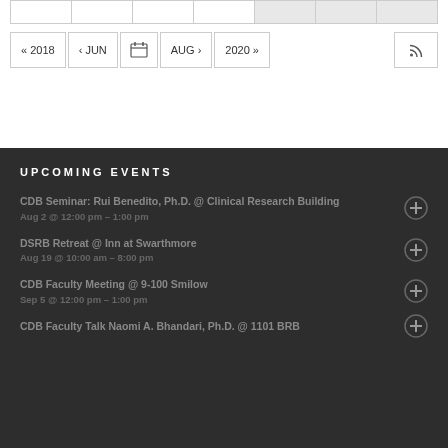[Figure (screenshot): Calendar navigation bar with year/month navigation buttons: « 2018, ‹ JUN, calendar icon, AUG ›, 2020 », and RSS feed button]
UPCOMING EVENTS
CDB Seminar: Rui Benedito, Ph.D. @ Clinical Research Building
Aug 2 @ 12:00 pm – 1:00 pm
DSRB Retreat @ Inn at Swarthmore
Aug 19 @ 10:00 am – 8:00 pm
CDB Faculty Meeting @ 9-100 Smilow
Sep 5 @ 12:00 pm – 1:00 pm
CDB Faculty Talk Naomi A. Bhande Ph.D. @ 1101 BRB...